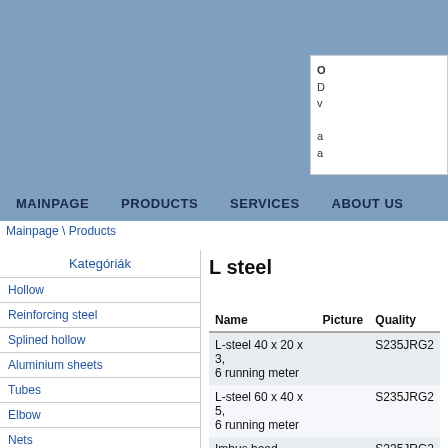Header background with white info box
MAINPAGE   PRODUCTS   SERVICES   ABOUT US
Mainpage \ Products
Kategóriák
Hollow
Reinforcing steel
Splined hollow
Aluminium sheets
Tubes
Elbow
Nets
Elōhorganyzott kerítes elemek
Extrudált, poliamid, mûanyag rúd
Gerendák
Hidogon hajlított szögacél
L steel
| Name | Picture | Quality |
| --- | --- | --- |
| L-steel 40 x 20 x 3, 6 running meter |  | S235JRG2 |
| L-steel 60 x 40 x 5, 6 running meter |  | S235JRG2 |
| Imbus head screw 10 x 40 |  | S235JRG2 |
| L-steel 80 x 40 x 6, 6 running meter |  | S235JRG2 |